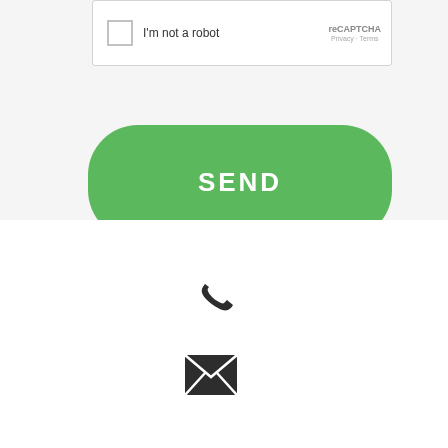[Figure (screenshot): reCAPTCHA widget with checkbox labeled 'I'm not a robot', reCAPTCHA logo, Privacy and Terms links]
[Figure (screenshot): Green rounded SEND button with white bold uppercase text 'SEND']
[Figure (illustration): Dark phone handset icon]
[Figure (illustration): Dark envelope / email icon with X pattern]